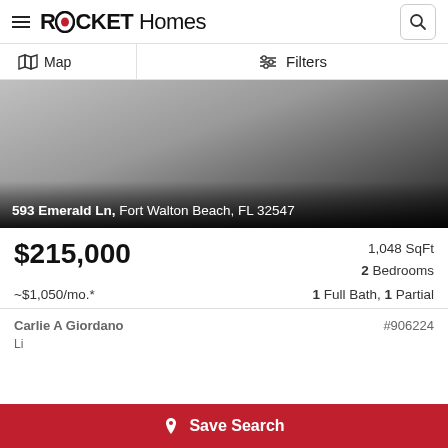ROCKET Homes
Map | Filters
[Figure (photo): Property listing photo for 593 Emerald Ln, Fort Walton Beach, FL 32547 — gradient overlay with address text]
$215,000
1,048 SqFt
2 Bedrooms
~$1,050/mo.*
1 Full Bath, 1 Partial
Carlie A Giordano
#906224
Save Search